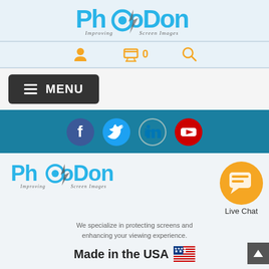[Figure (logo): PhotoDon logo with tagline 'Improving Screen Images' in blue and grey on light blue background]
[Figure (infographic): Navigation icons: user/account icon, shopping cart with '0', and search/magnifying glass icon in orange]
[Figure (infographic): Dark hamburger menu button labeled MENU]
[Figure (infographic): Social media icons on teal/blue background: Facebook, Twitter, LinkedIn, YouTube]
[Figure (logo): PhotoDon logo repeated with tagline 'Improving Screen Images']
[Figure (infographic): Orange circle with chat bubble icon and 'Live Chat' label]
We specialize in protecting screens and enhancing your viewing experience.
Made in the USA 🇺🇸